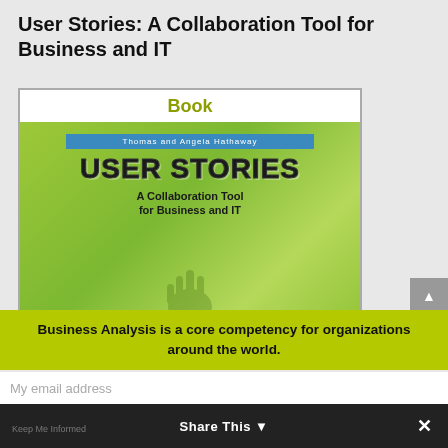User Stories: A Collaboration Tool for Business and IT
[Figure (illustration): Book cover for 'User Stories: A Collaboration Tool for Business and IT' by Thomas and Angela Hathaway. Green cover with large bold title text and subtitle. Label bar at top says 'Book' in olive/yellow. Below the cover image shows text: 'How to Capture, Write, Prioritize, Rightsize, and Flesh Out User Stories including Acceptance Tests as GWT Scenarios']
Business Analysis is a core competency for organizations around the world.
My email address
Keep Me Informed   Share This   ✕